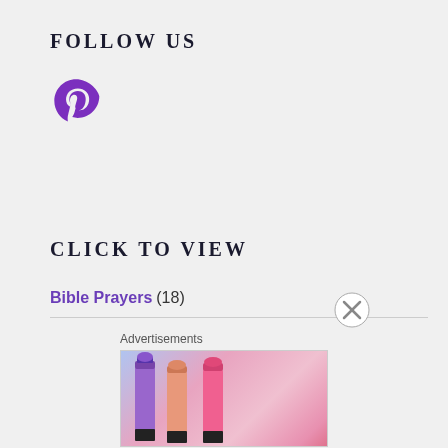FOLLOW US
[Figure (logo): Pinterest logo icon in purple/violet color]
CLICK TO VIEW
Bible Prayers (18)
Bible Study Fellowship (BSF) (32)
[Figure (photo): MAC cosmetics advertisement banner showing lipsticks with SHOP NOW button]